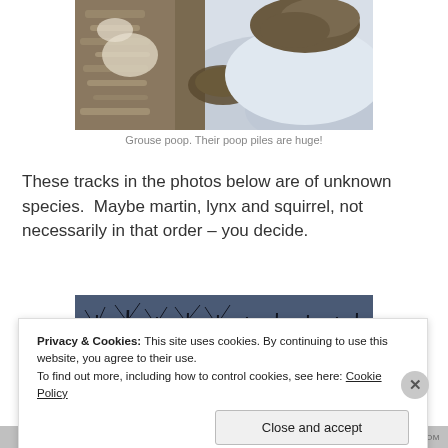[Figure (photo): Close-up photo of grouse poop against snow and bark background]
Grouse poop. Their poop piles are huge!
These tracks in the photos below are of unknown species.  Maybe martin, lynx and squirrel, not necessarily in that order – you decide.
[Figure (photo): Wide photo of dark winter forest with bare trees against a blue-grey sky]
Privacy & Cookies: This site uses cookies. By continuing to use this website, you agree to their use.
To find out more, including how to control cookies, see here: Cookie Policy